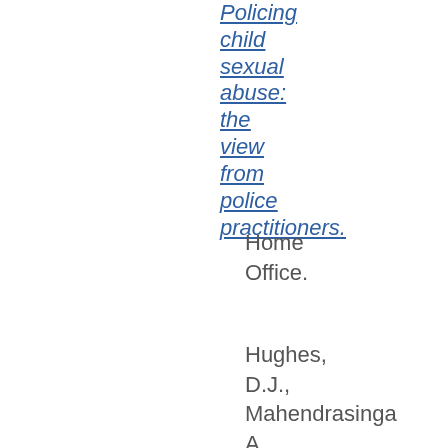Policing child sexual abuse: the view from police practitioners.
Home Office.
Hughes, D.J., Mahendrasinga A., Heeley, E.L., Oatway, W.B., Martin, Christine